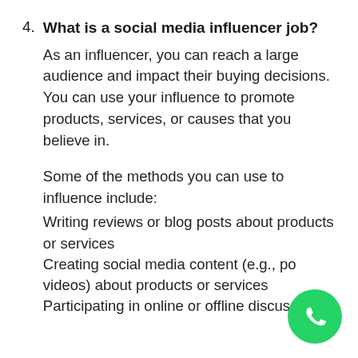4. What is a social media influencer job? As an influencer, you can reach a large audience and impact their buying decisions. You can use your influence to promote products, services, or causes that you believe in. Some of the methods you can use to influence include: Writing reviews or blog posts about products or services Creating social media content (e.g., posts, videos) about products or services Participating in online or offline discussions